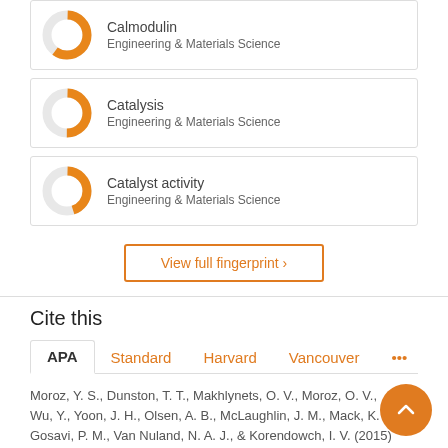[Figure (donut-chart): Donut chart for Calmodulin, Engineering & Materials Science]
Calmodulin
Engineering & Materials Science
[Figure (donut-chart): Donut chart for Catalysis, Engineering & Materials Science]
Catalysis
Engineering & Materials Science
[Figure (donut-chart): Donut chart for Catalyst activity, Engineering & Materials Science]
Catalyst activity
Engineering & Materials Science
View full fingerprint ›
Cite this
APA   Standard   Harvard   Vancouver   •••
Moroz, Y. S., Dunston, T. T., Makhlynets, O. V., Moroz, O. V., Wu, Y., Yoon, J. H., Olsen, A. B., McLaughlin, J. M., Mack, K. L., Gosavi, P. M., Van Nuland, N. A. J., & Korendowch, I. V. (2015)